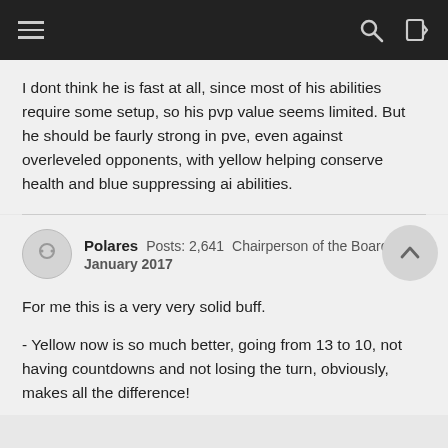Navigation bar with hamburger menu, search, and login icons
I dont think he is fast at all, since most of his abilities require some setup, so his pvp value seems limited. But he should be faurly strong in pve, even against overleveled opponents, with yellow helping conserve health and blue suppressing ai abilities.
Polares  Posts: 2,641  Chairperson of the Boards  January 2017
For me this is a very very solid buff.

- Yellow now is so much better, going from 13 to 10, not having countdowns and not losing the turn, obviously, makes all the difference!